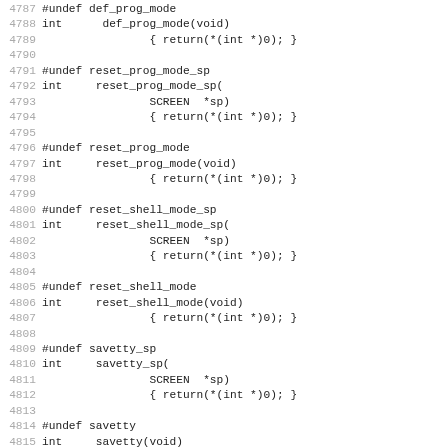4787 #undef def_prog_mode (partial top)
4788 int      def_prog_mode(void)
4789                   { return(*(int *)0); }
4790
4791 #undef reset_prog_mode_sp
4792 int     reset_prog_mode_sp(
4793                   SCREEN  *sp)
4794                   { return(*(int *)0); }
4795
4796 #undef reset_prog_mode
4797 int     reset_prog_mode(void)
4798                   { return(*(int *)0); }
4799
4800 #undef reset_shell_mode_sp
4801 int     reset_shell_mode_sp(
4802                   SCREEN  *sp)
4803                   { return(*(int *)0); }
4804
4805 #undef reset_shell_mode
4806 int     reset_shell_mode(void)
4807                   { return(*(int *)0); }
4808
4809 #undef savetty_sp
4810 int     savetty_sp(
4811                   SCREEN  *sp)
4812                   { return(*(int *)0); }
4813
4814 #undef savetty
4815 int     savetty(void)
4816                   { return(*(int *)0); }
4817
4818 #undef resetty_sp
4819 int     resetty_sp(